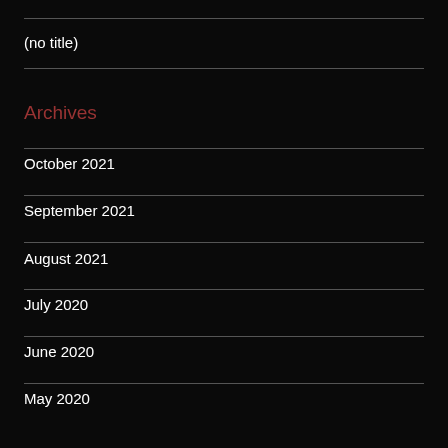(no title)
Archives
October 2021
September 2021
August 2021
July 2020
June 2020
May 2020